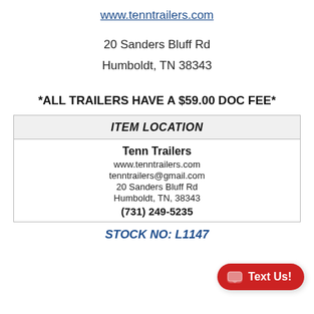www.tenntrailers.com
20 Sanders Bluff Rd
Humboldt, TN 38343
*ALL TRAILERS HAVE A $59.00 DOC FEE*
| ITEM LOCATION |
| --- |
| Tenn Trailers
www.tenntrailers.com
tenntrailers@gmail.com
20 Sanders Bluff Rd
Humboldt, TN, 38343
(731) 249-5235 |
STOCK NO: L1147